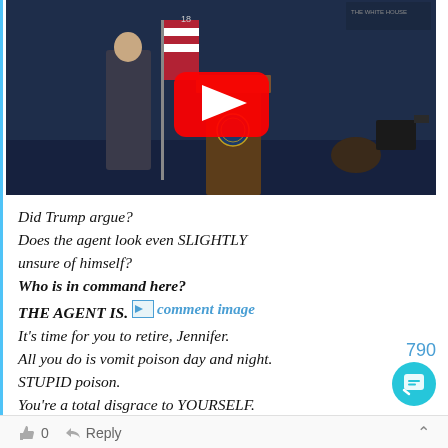[Figure (screenshot): YouTube video thumbnail showing a White House press briefing scene with a play button overlay]
Did Trump argue?
Does the agent look even SLIGHTLY unsure of himself?
Who is in command here?
THE AGENT IS. [comment image]
It's time for you to retire, Jennifer.
All you do is vomit poison day and night. STUPID poison.
You're a total disgrace to YOURSELF.
0  Reply